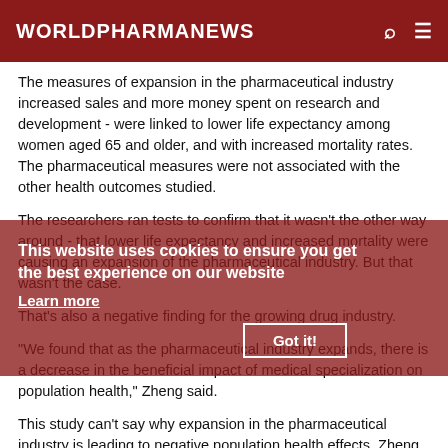WORLDPHARMANEWS
The measures of expansion in the pharmaceutical industry increased sales and more money spent on research and development - were linked to lower life expectancy among women aged 65 and older, and with increased mortality rates. The pharmaceutical measures were not associated with the other health outcomes studied.
The researchers ran tests to confirm that it wasn't the other way around - that lower life expectancy and increased mortality were causing an expansion of the pharmaceutical industry. But that wasn't the case.
That's also a negative finding for the growing drug industry.
"We found that as the pharmaceutical industry expands, there is a decrease in the beneficial impact of medical specialization on population health," Zheng said.
This study can't say why expansion in the pharmaceutical industry is leading to negative population health effects, Zheng said.